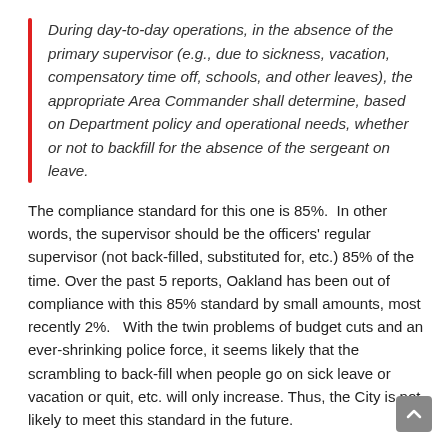During day-to-day operations, in the absence of the primary supervisor (e.g., due to sickness, vacation, compensatory time off, schools, and other leaves), the appropriate Area Commander shall determine, based on Department policy and operational needs, whether or not to backfill for the absence of the sergeant on leave.
The compliance standard for this one is 85%.  In other words, the supervisor should be the officers' regular supervisor (not back-filled, substituted for, etc.) 85% of the time. Over the past 5 reports, Oakland has been out of compliance with this 85% standard by small amounts, most recently 2%.   With the twin problems of budget cuts and an ever-shrinking police force, it seems likely that the scrambling to back-fill when people go on sick leave or vacation or quit, etc. will only increase. Thus, the City is not likely to meet this standard in the future.